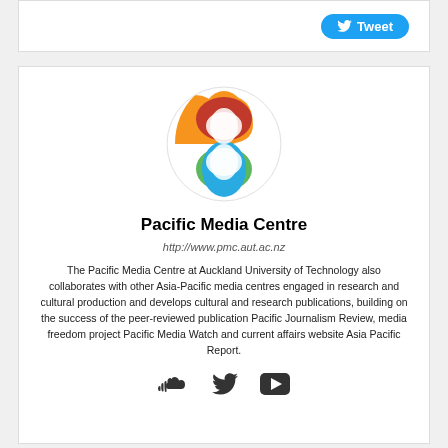[Figure (other): Twitter Tweet button with bird logo]
[Figure (logo): Pacific Media Centre circular logo with four colored petals: orange (top), green (right), blue (bottom), red (left), with white flower overlay]
Pacific Media Centre
http://www.pmc.aut.ac.nz
The Pacific Media Centre at Auckland University of Technology also collaborates with other Asia-Pacific media centres engaged in research and cultural production and develops cultural and research publications, building on the success of the peer-reviewed publication Pacific Journalism Review, media freedom project Pacific Media Watch and current affairs website Asia Pacific Report.
[Figure (other): Social media icons: SoundCloud, Twitter, YouTube]